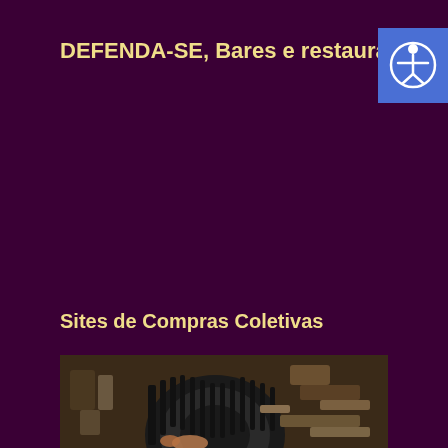DEFENDA-SE, Bares e restaurantes
[Figure (other): Accessibility icon button — person with arms outstretched in a circle, on blue background]
Sites de Compras Coletivas
[Figure (photo): Close-up photo of a vehicle tire and undercarriage/suspension components in a garage or repair shop setting]